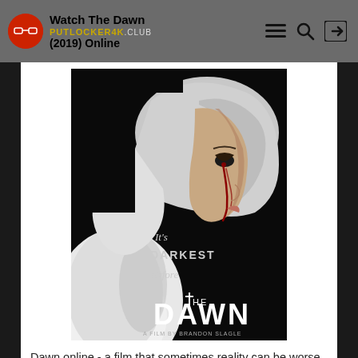Watch The Dawn (2019) Online | PUTLOCKER4K.CLUB
[Figure (photo): Movie poster for 'The Dawn' directed by Brandon Slagle. Shows a woman in a nun's habit in profile view against a dark background, with blood or tears on her face. Text reads 'It's DARKEST Before THE DAWN - A Film by Brandon Slagle'.]
Dawn online - a film that sometimes reality can be worse than any nightmarish dreams. In the center of the plot is a young girl who has